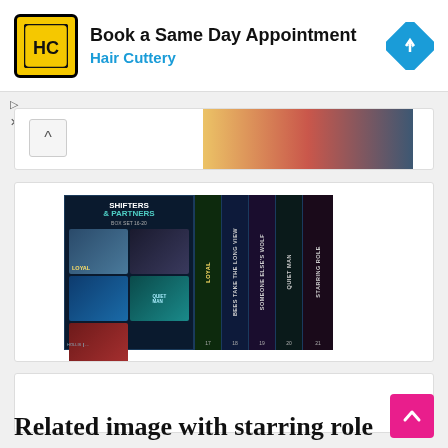[Figure (screenshot): Hair Cuttery advertisement banner: yellow/black logo on left, 'Book a Same Day Appointment' headline, 'Hair Cuttery' subtitle in blue, cyan diamond navigation icon on right]
▷
✕
[Figure (screenshot): Partially visible book cover strip at top of a card]
[Figure (photo): Shifters & Partners box set book covers showing multiple novels with dark blue/teal aesthetic. Spines visible reading: STARRING ROLE, QUIET MAN, SOMEONE ELSE'S WOLF, BEES TAKE THE LONG VIEW, LOYAL. Author: HOLLIS.]
[Figure (screenshot): Empty white card/placeholder area]
Related image with starring role
[Figure (other): Pink/magenta scroll-to-top button with upward arrow icon]